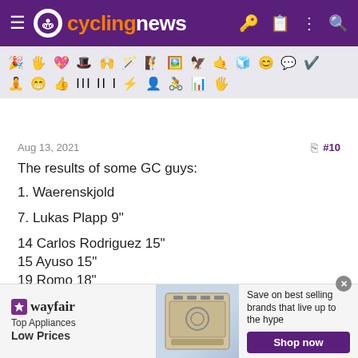cyclingnews
[Figure (other): Emoji/icon toolbar row with cycling-related reaction icons]
Aug 13, 2021  #10
The results of some GC guys:
1. Waerenskjold
7. Lukas Plapp 9"
14 Carlos Rodriguez 15"
15 Ayuso 15"
19 Romo 18"
27 Heinschke 19"
[Figure (other): Wayfair advertisement banner: Top Appliances Low Prices, Shop now button]